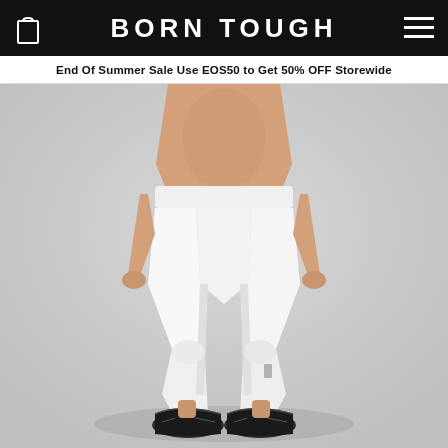BORN TOUGH
End Of Summer Sale Use EOS50 to Get 50% OFF Storewide
[Figure (photo): A shirtless male model wearing white compression leggings/tights and black athletic sneakers, standing against a light gray background. The photo shows from the torso down.]